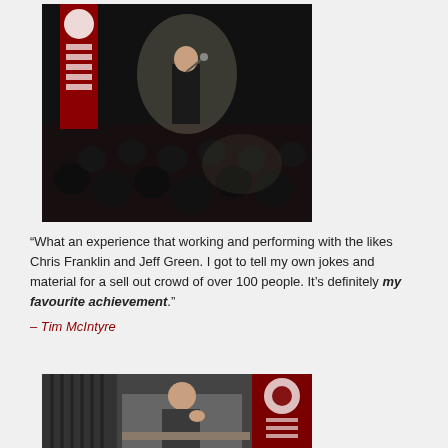[Figure (photo): A person performing stand-up comedy on stage with a microphone, in front of a seated audience in a darkened venue. A red banner is visible in the background.]
“What an experience that working and performing with the likes Chris Franklin and Jeff Green. I got to tell my own jokes and material for a sell out crowd of over 100 people. It’s definitely my favourite achievement.”
– Tim McIntyre
[Figure (photo): A person sitting at a table in an indoor setting, with a red banner visible on the right side.]